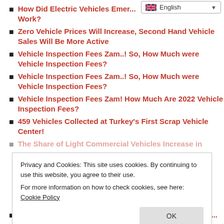How Did Electric Vehicles Emer... s Work?
Zero Vehicle Prices Will Increase, Second Hand Vehicle Sales Will Be More Active
Vehicle Inspection Fees Zam..! So, How Much were Vehicle Inspection Fees?
Vehicle Inspection Fees Zam..! So, How Much were Vehicle Inspection Fees?
Vehicle Inspection Fees Zam! How Much Are 2022 Vehicle Inspection Fees?
459 Vehicles Collected at Turkey's First Scrap Vehicle Center!
The Share of Light Commercial Vehicles Increase in...
Privacy and Cookies: This site uses cookies. By continuing to use this website, you agree to their use.
For more information on how to check cookies, see here: Cookie Policy
Electric Vehicles Put into Service, Ending the Carriage...